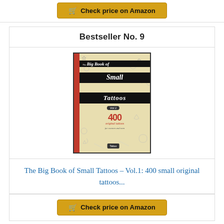[Figure (other): Amazon check price button (partial, top of page)]
Bestseller No. 9
[Figure (photo): Book cover of 'The Big Book of Small Tattoos - Vol.1: 400 original tattoos for women and men' with black banners on beige background, red spine stripe, and tattoo doodles]
The Big Book of Small Tattoos – Vol.1: 400 small original tattoos...
[Figure (other): Check price on Amazon button]